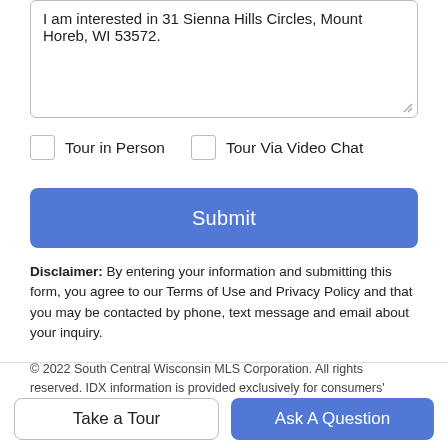I am interested in 31 Sienna Hills Circles, Mount Horeb, WI 53572.
Tour in Person
Tour Via Video Chat
Submit
Disclaimer: By entering your information and submitting this form, you agree to our Terms of Use and Privacy Policy and that you may be contacted by phone, text message and email about your inquiry.
© 2022 South Central Wisconsin MLS Corporation. All rights reserved. IDX information is provided exclusively for consumers'
Take a Tour
Ask A Question